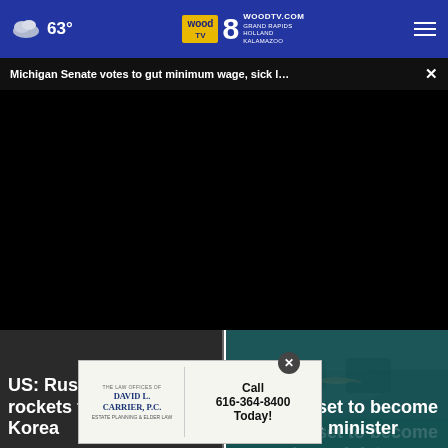63° WOODTV.COM GRAND RAPIDS HOLLAND KALAMAZOO
Michigan Senate votes to gut minimum wage, sick l… ×
[Figure (screenshot): Black video player area]
US: Russia to buy rockets from North Korea
Liz Truss set to become new prime minister
[Figure (infographic): Advertisement for The Law Offices of David L. Carrier, P.C. Estate Planning & Elder Law. Call 616-364-8400 Today!]